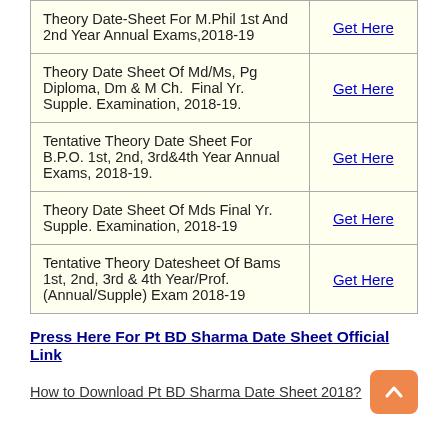| Description | Link |
| --- | --- |
| Theory Date-Sheet For M.Phil 1st And 2nd Year Annual Exams,2018-19 | Get Here |
| Theory Date Sheet Of Md/Ms, Pg Diploma, Dm & M Ch.  Final Yr. Supple. Examination, 2018-19. | Get Here |
| Tentative Theory Date Sheet For B.P.O. 1st, 2nd, 3rd&4th Year Annual Exams, 2018-19. | Get Here |
| Theory Date Sheet Of Mds Final Yr. Supple. Examination, 2018-19 | Get Here |
| Tentative Theory Datesheet Of Bams 1st, 2nd, 3rd & 4th Year/Prof. (Annual/Supple) Exam 2018-19 | Get Here |
Press Here For Pt BD Sharma Date Sheet Official Link
How to Download Pt BD Sharma Date Sheet 2018?